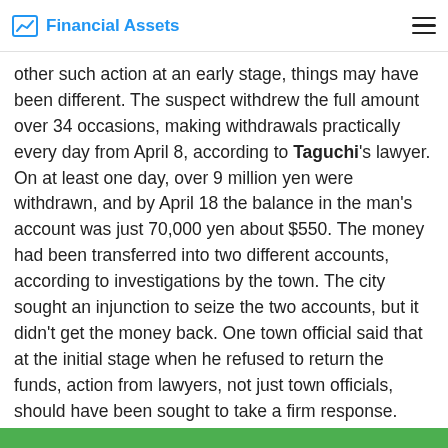Financial Assets
order, that would have been different. And if there had been a request for a temporary injunction or other such action at an early stage, things may have been different. The suspect withdrew the full amount over 34 occasions, making withdrawals practically every day from April 8, according to Taguchi's lawyer. On at least one day, over 9 million yen were withdrawn, and by April 18 the balance in the man's account was just 70,000 yen about $550. The money had been transferred into two different accounts, according to investigations by the town. The city sought an injunction to seize the two accounts, but it didn't get the money back. One town official said that at the initial stage when he refused to return the funds, action from lawyers, not just town officials, should have been sought to take a firm response. Norihiko Hanada, mayor of the city of Abu, told